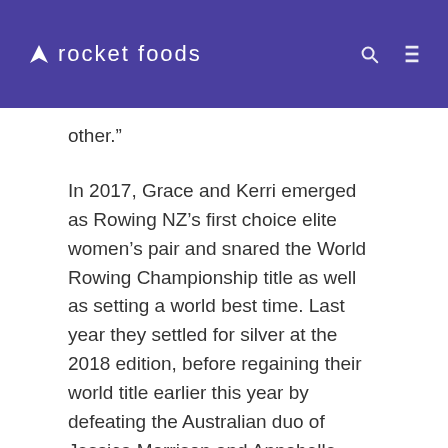rocket foods
other.”
In 2017, Grace and Kerri emerged as Rowing NZ’s first choice elite women’s pair and snared the World Rowing Championship title as well as setting a world best time. Last year they settled for silver at the 2018 edition, before regaining their world title earlier this year by defeating the Australian duo of Jessica Morrison and Annabelle McIntyre by more than a two-second margin.
The dynamic duo then showed great versatility, not to mention incredible reserves of endurance, to feature in the gold medal-winning women’s eight crew, which finished more than two-and-a-half seconds clear of Australia.